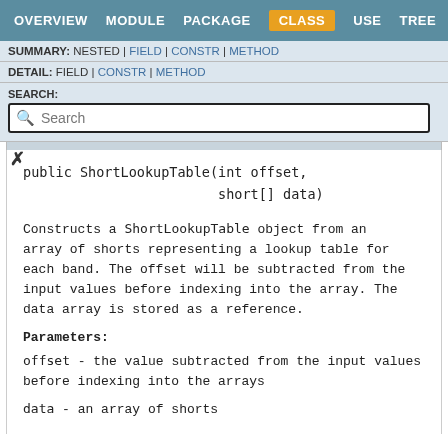OVERVIEW  MODULE  PACKAGE  CLASS  USE  TREE
SUMMARY: NESTED | FIELD | CONSTR | METHOD
DETAIL: FIELD | CONSTR | METHOD
SEARCH:
Search
×
public ShortLookupTable(int offset,
                        short[] data)
Constructs a ShortLookupTable object from an array of shorts representing a lookup table for each band. The offset will be subtracted from the input values before indexing into the array. The data array is stored as a reference.
Parameters:
offset - the value subtracted from the input values before indexing into the arrays
data - an array of shorts